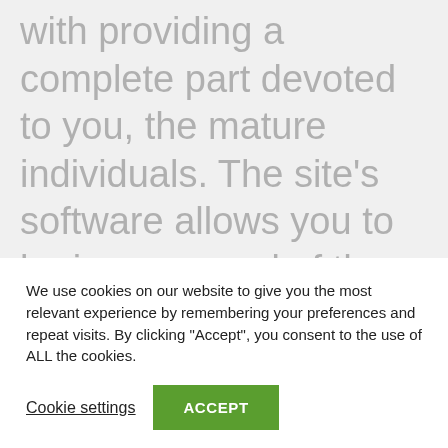with providing a complete part devoted to you, the mature individuals. The site’s software allows you to be in command of the connections on the go. Which is a in addition considering now there couldn’t be a little more members to verify out.
Alt... (partially visible)
We use cookies on our website to give you the most relevant experience by remembering your preferences and repeat visits. By clicking “Accept”, you consent to the use of ALL the cookies.
Cookie settings
ACCEPT